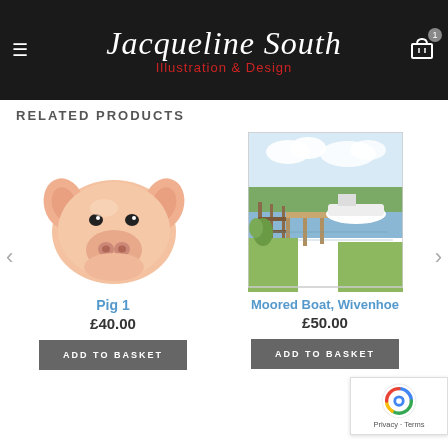Jacqueline South Illustration & Design
RELATED PRODUCTS
[Figure (illustration): Illustration of a pig face, close-up, pink snout and ears, realistic painting style on white background]
Pig 1
£40.00
[Figure (illustration): Watercolour illustration of a moored boat at a dock/jetty, Wivenhoe, with green grass, wooden fence, water and cloudy sky]
Moored Boat, Wivenhoe
£50.00